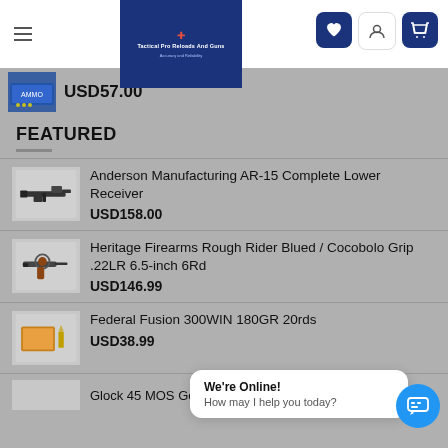Tactical Pro Reloads and Guns
USD57.00
FEATURED
Anderson Manufacturing AR-15 Complete Lower Receiver
USD158.00
Heritage Firearms Rough Rider Blued / Cocobolo Grip .22LR 6.5-inch 6Rd
USD146.99
Federal Fusion 300WIN 180GR 20rds
USD38.99
We're Online!
How may I help you today?
Glock 45 MOS Gen...